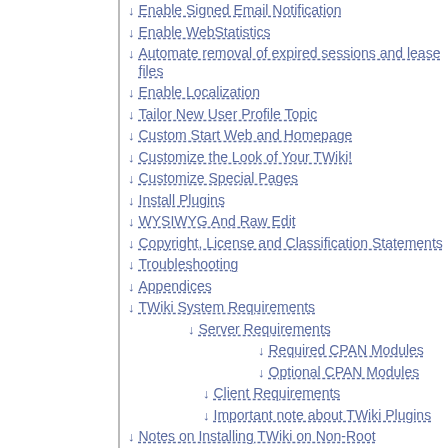Enable Signed Email Notification
Enable WebStatistics
Automate removal of expired sessions and lease files
Enable Localization
Tailor New User Profile Topic
Custom Start Web and Homepage
Customize the Look of Your TWiki!
Customize Special Pages
Install Plugins
WYSIWYG And Raw Edit
Copyright, License and Classification Statements
Troubleshooting
Appendices
TWiki System Requirements
Server Requirements
Required CPAN Modules
Optional CPAN Modules
Client Requirements
Important note about TWiki Plugins
Notes on Installing TWiki on Non-Root